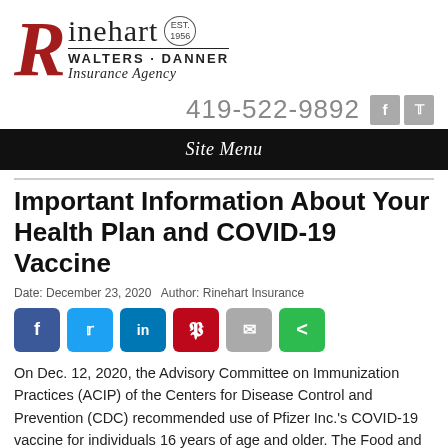[Figure (logo): Rinehart Walters Danner Insurance Agency logo with large red italic R, established 1956 badge]
419-522-9892
Site Menu
Important Information About Your Health Plan and COVID-19 Vaccine
Date: December 23, 2020   Author: Rinehart Insurance
[Figure (infographic): Social share buttons: Facebook, Twitter, LinkedIn, Pinterest, Email, Share]
On Dec. 12, 2020, the Advisory Committee on Immunization Practices (ACIP) of the Centers for Disease Control and Prevention (CDC) recommended use of Pfizer Inc.'s COVID-19 vaccine for individuals 16 years of age and older. The Food and Drug